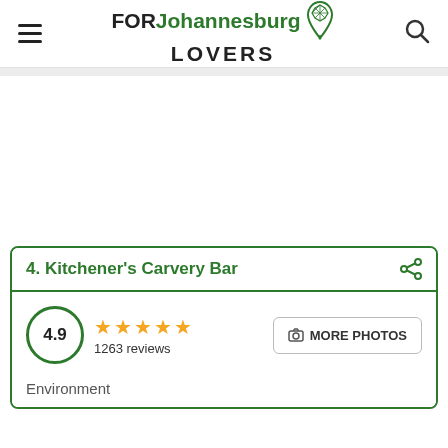FOR Johannesburg LOVERS
4. Kitchener's Carvery Bar
4.9 rating, 1263 reviews, ★★★★★
MORE PHOTOS
Environment